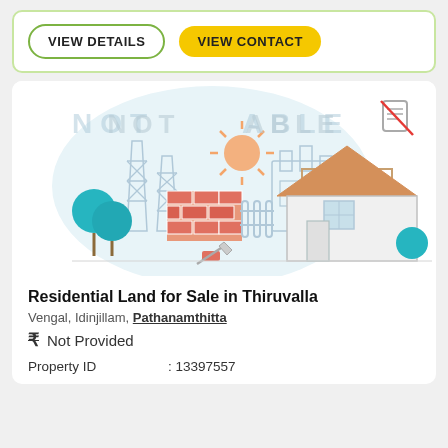VIEW DETAILS
VIEW CONTACT
[Figure (illustration): Real estate listing illustration showing residential construction scene with house roof, brick wall, trees, fencing, and sun. 'NOT AVAILABLE' watermark overlaid. A no-document icon in top right corner.]
Residential Land for Sale in Thiruvalla
Vengal, Idinjillam, Pathanamthitta
₹ Not Provided
Property ID : 13397557